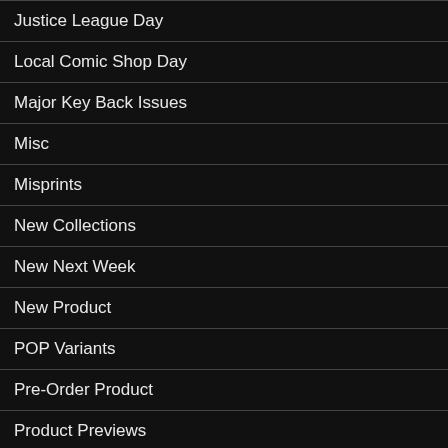Justice League Day
Local Comic Shop Day
Major Key Back Issues
Misc
Misprints
New Collections
New Next Week
New Product
POP Variants
Pre-Order Product
Product Previews
Sale
Shop History